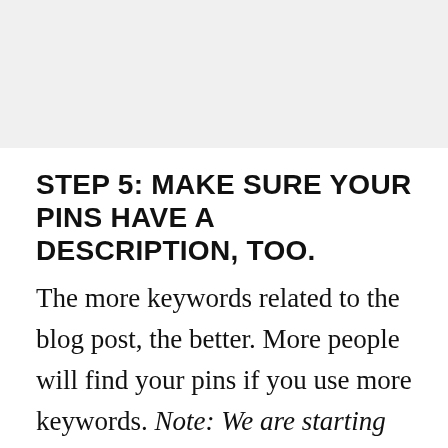[Figure (other): Gray placeholder image at top of page]
STEP 5: MAKE SURE YOUR PINS HAVE A DESCRIPTION, TOO.
The more keywords related to the blog post, the better. More people will find your pins if you use more keywords. Note: We are starting to see the use of